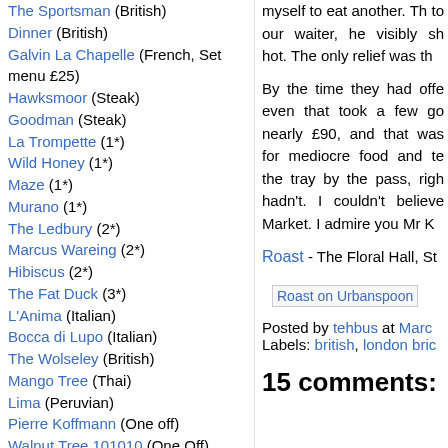The Sportsman (British)
Dinner (British)
Galvin La Chapelle (French, Set menu £25)
Hawksmoor (Steak)
Goodman (Steak)
La Trompette (1*)
Wild Honey (1*)
Maze (1*)
Murano (1*)
The Ledbury (2*)
Marcus Wareing (2*)
Hibiscus (2*)
The Fat Duck (3*)
L'Anima (Italian)
Bocca di Lupo (Italian)
The Wolseley (British)
Mango Tree (Thai)
Lima (Peruvian)
Pierre Koffmann (One off)
Walnut Tree 101010 (One Off)
other bits and pieces
Dirty Martini (Cocktail Bar)
Bar Kick (Table Football bar)
Marmite Shop (Pop up)
myself to eat another. Th to our waiter, he visibly sh hot. The only relief was th
By the time they had offe even that took a few go nearly £90, and that was for mediocre food and te the tray by the pass, righ hadn't. I couldn't believe Market. I admire you Mr K
Roast - The Floral Hall, St
[Figure (screenshot): Roast on Urbanspoon image/badge]
Posted by tehbus at Marc
Labels: british, london bric
15 comments: